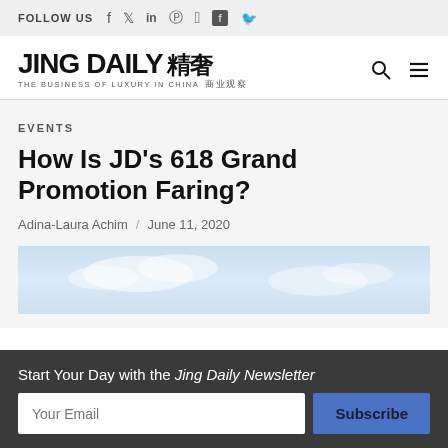FOLLOW US
[Figure (logo): Jing Daily logo — THE BUSINESS OF LUXURY IN CHINA with Chinese characters 精奢 商业观察]
EVENTS
How Is JD's 618 Grand Promotion Faring?
Adina-Laura Achim / June 11, 2020
[Figure (photo): Article header image showing a light blue sky background]
Start Your Day with the Jing Daily Newsletter